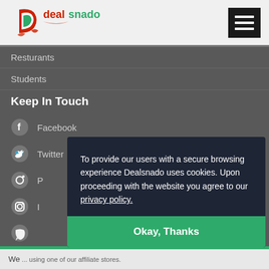[Figure (logo): Dealsnado logo with stylized 'D' icon in red and green, followed by text 'dealsnado' in red and green]
[Figure (other): Hamburger menu icon (three horizontal white bars on black background)]
Resturants
Students
Keep In Touch
Facebook
Twitter
Pinterest (partially obscured)
Instagram (partially obscured)
WhatsApp (partially obscured)
To provide our users with a secure browsing experience Dealsnado uses cookies. Upon proceeding with the website you agree to our privacy policy.
Okay, Thanks
We... using one of our affiliate stores.